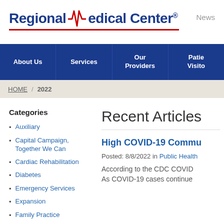[Figure (logo): Regional Medical Center logo with red EKG line graphic and blue bold text, with red underline]
News
About Us | Services | Our Providers | Patie… Visito…
HOME / 2022
Categories
Auxiliary
Capital Campaign, Together We Can
Cardiac Rehabilitation
Diabetes
Emergency Services
Expansion
Family Practice
Recent Articles
High COVID-19 Commu…
Posted: 8/8/2022 in Public Health
According to the CDC COVID… As COVID-19 cases continue…